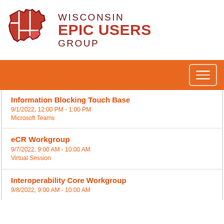[Figure (logo): Wisconsin Epic Users Group logo — red puzzle-piece shape of Wisconsin state outline with white dividing lines]
WISCONSIN EPIC USERS GROUP
[Figure (other): Orange navigation bar with hamburger menu button in top-right corner]
Information Blocking Touch Base
9/1/2022, 12:00 PM - 1:00 PM
Microsoft Teams
eCR Workgroup
9/7/2022, 9:00 AM - 10:00 AM
Virtual Session
Interoperability Core Workgroup
9/8/2022, 9:00 AM - 10:00 AM